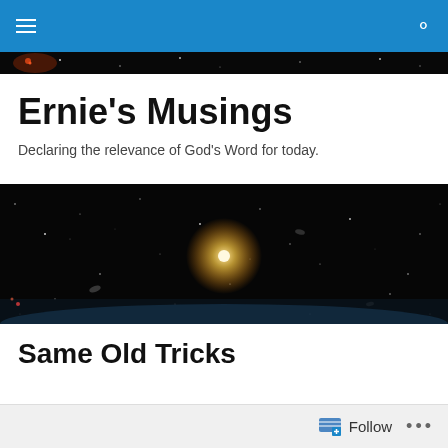Navigation bar with menu and search icons
[Figure (photo): Narrow strip of deep space/night sky with stars, reddish nebula at top of page]
Ernie's Musings
Declaring the relevance of God's Word for today.
[Figure (photo): Wide banner of deep space showing stars, galaxies, and bright central star against black sky]
Same Old Tricks
[Figure (photo): Partial view of a green circular logo/image at bottom of page]
Follow  •••